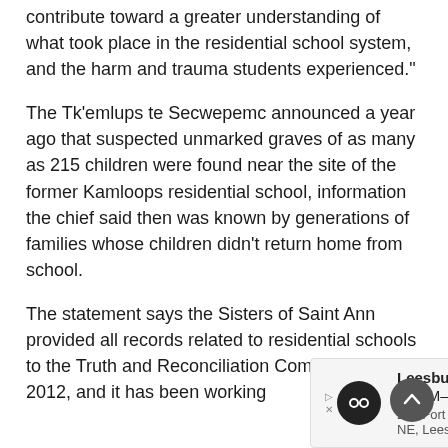contribute toward a greater understanding of what took place in the residential school system, and the harm and trauma students experienced."
The Tk'emlups te Secwepemc announced a year ago that suspected unmarked graves of as many as 215 children were found near the site of the former Kamloops residential school, information the chief said then was known by generations of families whose children didn’t return home from school.
The statement says the Sisters of Saint Ann provided all records related to residential schools to the Truth and Reconciliation Commission in 2012, and it has been working
[Figure (other): Advertisement banner for Leesburg store showing store icon, name, open status, hours (10AM-9PM), address (241 Fort Evans Rd NE, Leesburg), and navigation arrow icon]